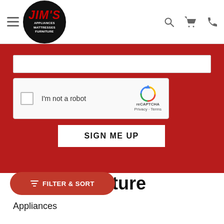Jim's Appliances Mattresses Furniture — navigation header with hamburger menu, logo, search, cart, and phone icons
[Figure (screenshot): reCAPTCHA widget: checkbox labeled I'm not a robot with reCAPTCHA logo, Privacy and Terms links]
SIGN ME UP
nce & Furniture
Appliances
FILTER & SORT